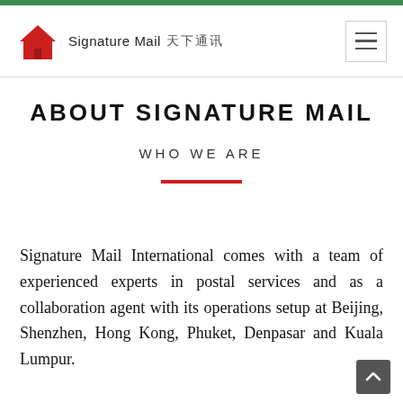Signature Mail 한국어
ABOUT SIGNATURE MAIL
WHO WE ARE
Signature Mail International comes with a team of experienced experts in postal services and as a collaboration agent with its operations setup at Beijing, Shenzhen, Hong Kong, Phuket, Denpasar and Kuala Lumpur.